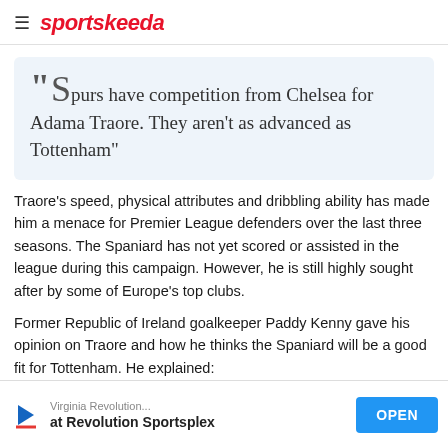sportskeeda
"Spurs have competition from Chelsea for Adama Traore. They aren't as advanced as Tottenham"
Traore's speed, physical attributes and dribbling ability has made him a menace for Premier League defenders over the last three seasons. The Spaniard has not yet scored or assisted in the league during this campaign. However, he is still highly sought after by some of Europe's top clubs.
Former Republic of Ireland goalkeeper Paddy Kenny gave his opinion on Traore and how he thinks the Spaniard will be a good fit for Tottenham. He explained:
[Figure (other): Advertisement banner: Virginia Revolution... at Revolution Sportsplex with OPEN button]